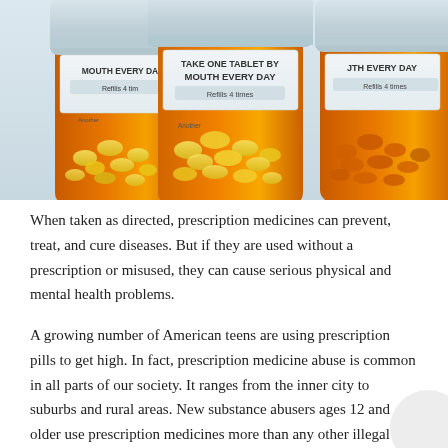[Figure (photo): Three orange prescription pill bottles with white label strips reading 'MOUTH EVERY DAY' and 'Refills 4 times', filled with yellow pills, photographed against a light background.]
When taken as directed, prescription medicines can prevent, treat, and cure diseases. But if they are used without a prescription or misused, they can cause serious physical and mental health problems.
A growing number of American teens are using prescription pills to get high. In fact, prescription medicine abuse is common in all parts of our society. It ranges from the inner city to suburbs and rural areas. New substance abusers ages 12 and older use prescription medicines more than any other illegal